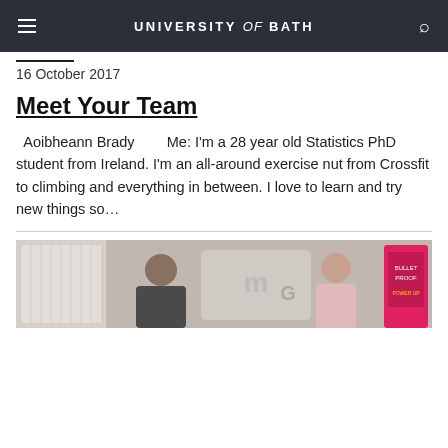UNIVERSITY of BATH
16 October 2017
Meet Your Team
Aoibheann Brady        Me: I'm a 28 year old Statistics PhD student from Ireland. I'm an all-around exercise nut from Crossfit to climbing and everything in between. I love to learn and try new things so…
[Figure (photo): Group photo of people in front of a sign, with a pink/red book or poster visible on the right side]